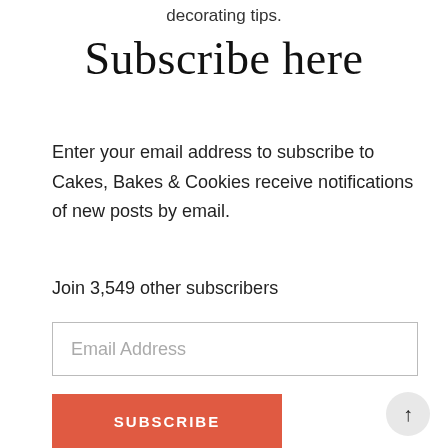decorating tips.
Subscribe here
Enter your email address to subscribe to Cakes, Bakes & Cookies receive notifications of new posts by email.
Join 3,549 other subscribers
Email Address
SUBSCRIBE